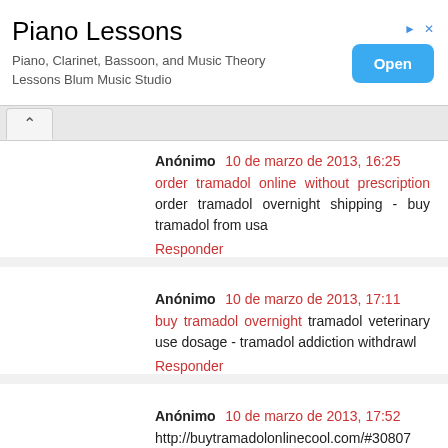[Figure (other): Advertisement banner for Piano Lessons - Blum Music Studio with Open button]
Anónimo 10 de marzo de 2013, 16:25
order tramadol online without prescription order tramadol overnight shipping - buy tramadol from usa
Responder
Anónimo 10 de marzo de 2013, 17:11
buy tramadol overnight tramadol veterinary use dosage - tramadol addiction withdrawl
Responder
Anónimo 10 de marzo de 2013, 17:52
http://buytramadolonlinecool.com/#30807 tramadol for sale no prescription - buy tramadol ultram
Responder